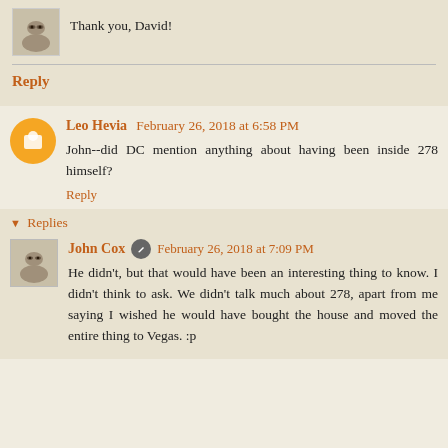Thank you, David!
Reply
Leo Hevia  February 26, 2018 at 6:58 PM
John--did DC mention anything about having been inside 278 himself?
Reply
Replies
John Cox  February 26, 2018 at 7:09 PM
He didn't, but that would have been an interesting thing to know. I didn't think to ask. We didn't talk much about 278, apart from me saying I wished he would have bought the house and moved the entire thing to Vegas. :p